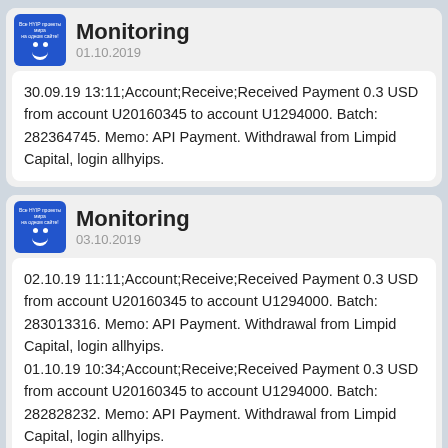Monitoring 01.10.2019
30.09.19 13:11;Account;Receive;Received Payment 0.3 USD from account U20160345 to account U1294000. Batch: 282364745. Memo: API Payment. Withdrawal from Limpid Capital, login allhyips.
Monitoring 03.10.2019
02.10.19 11:11;Account;Receive;Received Payment 0.3 USD from account U20160345 to account U1294000. Batch: 283013316. Memo: API Payment. Withdrawal from Limpid Capital, login allhyips. 01.10.19 10:34;Account;Receive;Received Payment 0.3 USD from account U20160345 to account U1294000. Batch: 282828232. Memo: API Payment. Withdrawal from Limpid Capital, login allhyips.
Monitoring 05.10.2019
04.10.19 10:27;Account;Receive;Received Payment 0.3 USD from account U20160345 to account U1294000. Batch: 283282971. Memo: API Payment. Withdrawal from Limpid Capital, login allhyips. 03.10.19 12:10;Account;Receive;Received Payment 0.3 USD from